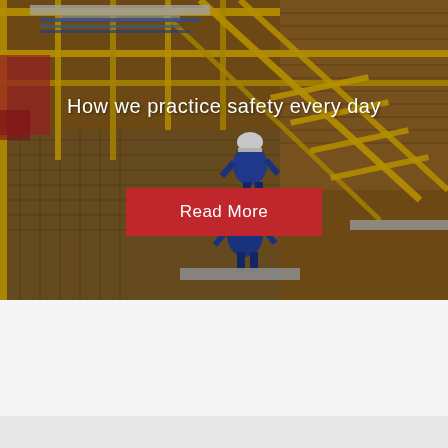[Figure (photo): Industrial facility photo taken from above showing workers in blue overalls and white hard hats climbing yellow metal stairs/grating structure, with yellow safety railings, metal grating floors, pipes, and brick wall in background.]
How we practice safety every day
Read More